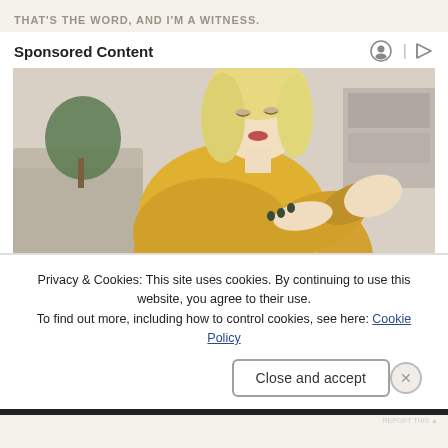THAT'S THE WORD, AND I'M A WITNESS.
Sponsored Content
[Figure (photo): Woman with short blonde hair wearing a yellow knit sweater, looking down at her arm/elbow with a concerned expression. She appears to be scratching or examining her elbow. Background shows a living room with a couch and plant.]
Privacy & Cookies: This site uses cookies. By continuing to use this website, you agree to their use.
To find out more, including how to control cookies, see here: Cookie Policy
Close and accept